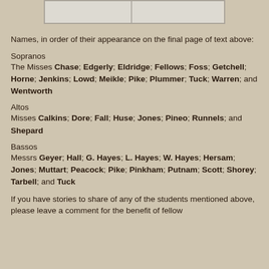[Figure (photo): Partial image of a document page showing two columns, cropped at top]
Names, in order of their appearance on the final page of text above:
Sopranos
The Misses Chase; Edgerly; Eldridge; Fellows; Foss; Getchell; Horne; Jenkins; Lowd; Meikle; Pike; Plummer; Tuck; Warren; and Wentworth
Altos
Misses Calkins; Dore; Fall; Huse; Jones; Pineo; Runnels; and Shepard
Bassos
Messrs Geyer; Hall; G. Hayes; L. Hayes; W. Hayes; Hersam; Jones; Muttart; Peacock; Pike; Pinkham; Putnam; Scott; Shorey; Tarbell; and Tuck
If you have stories to share of any of the students mentioned above, please leave a comment for the benefit of fellow